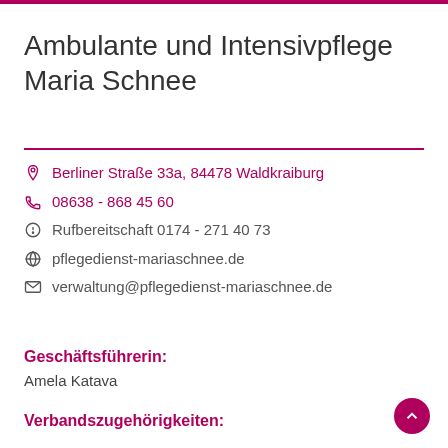Ambulante und Intensivpflege Maria Schnee
Berliner Straße 33a, 84478 Waldkraiburg
08638 - 868 45 60
Rufbereitschaft 0174 - 271 40 73
pflegedienst-mariaschnee.de
verwaltung@pflegedienst-mariaschnee.de
Geschäftsführerin:
Amela Katava
Verbandszugehörigkeiten: